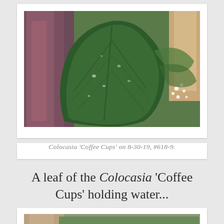[Figure (photo): Close-up photograph of a large dark green Colocasia 'Coffee Cups' leaf with water droplets, surrounded by purple-red banana plant stems and small white flowers in a garden setting.]
Colocasia 'Coffee Cups' on 8-30-19, #618-9.
A leaf of the Colocasia 'Coffee Cups' holding water...
[Figure (photo): Partial view of another garden photograph, partially visible at the bottom of the page, showing plants.]